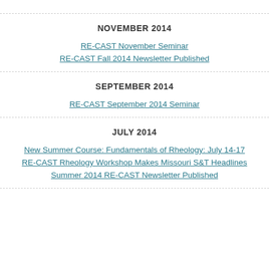NOVEMBER 2014
RE-CAST November Seminar
RE-CAST Fall 2014 Newsletter Published
SEPTEMBER 2014
RE-CAST September 2014 Seminar
JULY 2014
New Summer Course: Fundamentals of Rheology: July 14-17
RE-CAST Rheology Workshop Makes Missouri S&T Headlines
Summer 2014 RE-CAST Newsletter Published